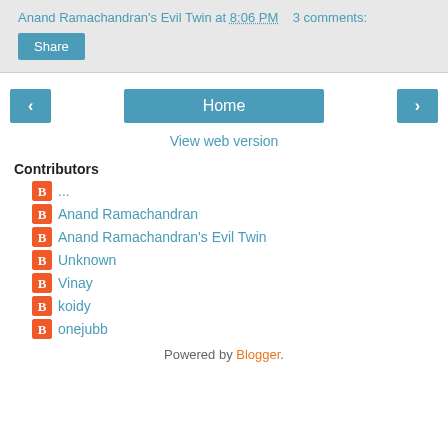Anand Ramachandran's Evil Twin at 8:06 PM   3 comments:
Share
[Figure (other): Navigation buttons: left arrow, Home, right arrow]
View web version
Contributors
...
Anand Ramachandran
Anand Ramachandran's Evil Twin
Unknown
Vinay
koidy
onejubb
Powered by Blogger.